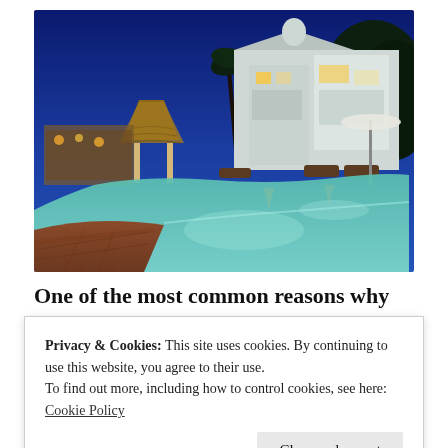[Figure (photo): Luxury resort at dusk with illuminated pool in the foreground, lounge chairs, thatched gazebo/palapa on the left with warm lighting, and a large multi-story white villa/mansion in the background against a deep blue evening sky with palm trees.]
One of the most common reasons why people go on
Privacy & Cookies: This site uses cookies. By continuing to use this website, you agree to their use.
To find out more, including how to control cookies, see here: Cookie Policy
Close and accept
g y p y